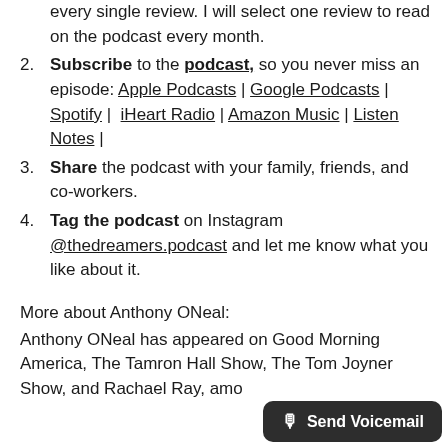every single review. I will select one review to read on the podcast every month.
2. Subscribe to the podcast, so you never miss an episode: Apple Podcasts | Google Podcasts | Spotify | iHeart Radio | Amazon Music | Listen Notes |
3. Share the podcast with your family, friends, and co-workers.
4. Tag the podcast on Instagram @thedreamers.podcast and let me know what you like about it.
More about Anthony ONeal:
Anthony ONeal has appeared on Good Morning America, The Tamron Hall Show, The Tom Joyner Show, and Rachael Ray, amo…